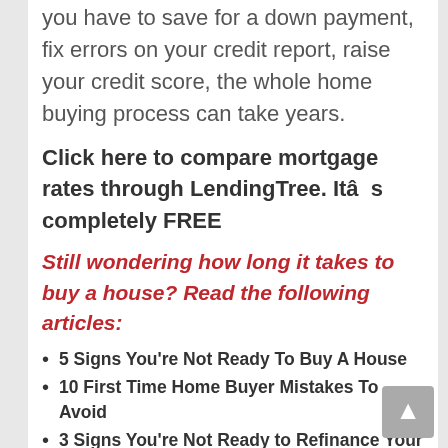you have to save for a down payment, fix errors on your credit report, raise your credit score, the whole home buying process can take years.
Click here to compare mortgage rates through LendingTree. Itâs completely FREE
Still wondering how long it takes to buy a house? Read the following articles:
5 Signs You're Not Ready To Buy A House
10 First Time Home Buyer Mistakes To Avoid
3 Signs You're Not Ready to Refinance Your Mortgage
The Biggest Mistakes Millennials Make